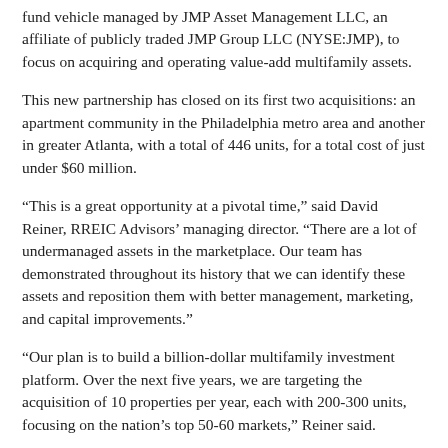fund vehicle managed by JMP Asset Management LLC, an affiliate of publicly traded JMP Group LLC (NYSE:JMP), to focus on acquiring and operating value-add multifamily assets.
This new partnership has closed on its first two acquisitions: an apartment community in the Philadelphia metro area and another in greater Atlanta, with a total of 446 units, for a total cost of just under $60 million.
“This is a great opportunity at a pivotal time,” said David Reiner, RREIC Advisors’ managing director. “There are a lot of undermanaged assets in the marketplace. Our team has demonstrated throughout its history that we can identify these assets and reposition them with better management, marketing, and capital improvements.”
“Our plan is to build a billion-dollar multifamily investment platform. Over the next five years, we are targeting the acquisition of 10 properties per year, each with 200-300 units, focusing on the nation’s top 50-60 markets,” Reiner said.